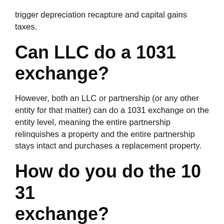trigger depreciation recapture and capital gains taxes.
Can LLC do a 1031 exchange?
However, both an LLC or partnership (or any other entity for that matter) can do a 1031 exchange on the entity level, meaning the entire partnership relinquishes a property and the entire partnership stays intact and purchases a replacement property.
How do you do the 10 31 exchange?
How to do a 1031 exchange